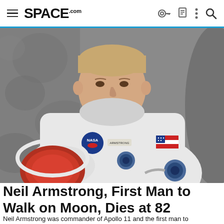SPACE.com
[Figure (photo): Neil Armstrong in NASA spacesuit, white suit with American flag patch on right arm and NASA patch on chest, holding helmet with red interior, posed against a lunar surface background]
Neil Armstrong, First Man to Walk on Moon, Dies at 82
Neil Armstrong was commander of Apollo 11 and the first man to...